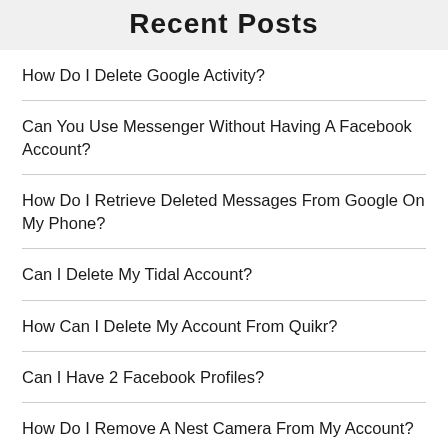Recent Posts
How Do I Delete Google Activity?
Can You Use Messenger Without Having A Facebook Account?
How Do I Retrieve Deleted Messages From Google On My Phone?
Can I Delete My Tidal Account?
How Can I Delete My Account From Quikr?
Can I Have 2 Facebook Profiles?
How Do I Remove A Nest Camera From My Account?
How Do I Remove My Phone Number From EBay?
How Do I Delete A Label In Gmail On My Phone?